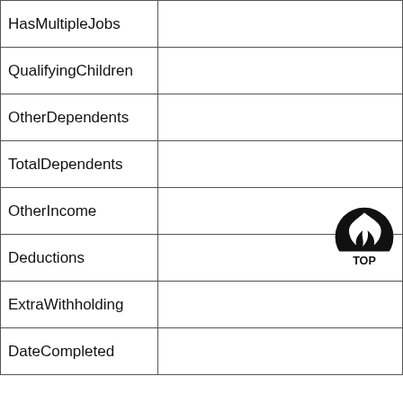| HasMultipleJobs |  |
| QualifyingChildren |  |
| OtherDependents |  |
| TotalDependents |  |
| OtherIncome |  |
| Deductions |  |
| ExtraWithholding |  |
| DateCompleted |  |